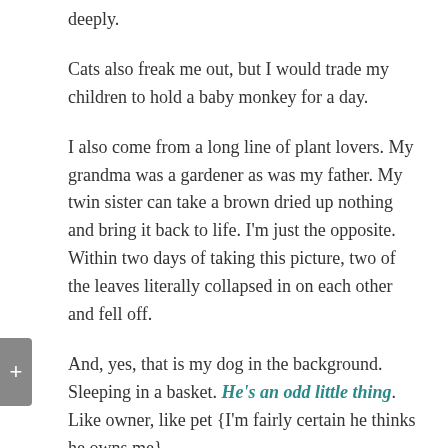deeply.
Cats also freak me out, but I would trade my children to hold a baby monkey for a day.
I also come from a long line of plant lovers. My grandma was a gardener as was my father. My twin sister can take a brown dried up nothing and bring it back to life. I'm just the opposite. Within two days of taking this picture, two of the leaves literally collapsed in on each other and fell off.
And, yes, that is my dog in the background. Sleeping in a basket. He's an odd little thing. Like owner, like pet {I'm fairly certain he thinks he owns me}.
Why do all of the good shows get cancelled {I still